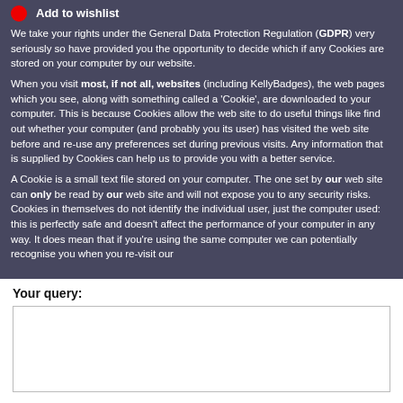Add to wishlist
We take your rights under the General Data Protection Regulation (GDPR) very seriously so have provided you the opportunity to decide which if any Cookies are stored on your computer by our website.
When you visit most, if not all, websites (including KellyBadges), the web pages which you see, along with something called a 'Cookie', are downloaded to your computer.  This is because Cookies allow the web site to do useful things like find out whether your computer (and probably you its user) has visited the web site before and re-use any preferences set during previous visits. Any information that is supplied by Cookies can help us to provide you with a better service.
A Cookie is a small text file stored on your computer. The one set by our web site can only be read by our web site and will not expose you to any security risks. Cookies in themselves do not identify the individual user, just the computer used: this is perfectly safe and doesn't affect the performance of your computer in any way. It does mean that if you're using the same computer we can potentially recognise you when you re-visit our
Your query:
[Figure (other): Text input textarea for user query, empty white box with border]